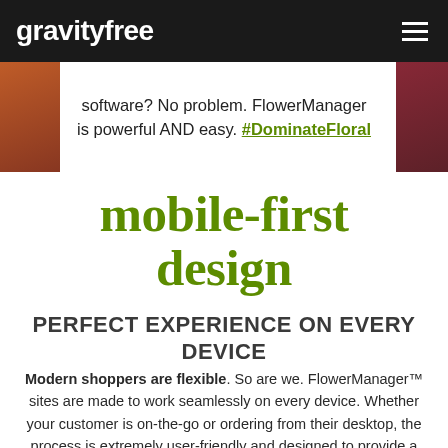gravityfree
software? No problem. FlowerManager is powerful AND easy. #DominateFloral
mobile-first design
PERFECT EXPERIENCE ON EVERY DEVICE
Modern shoppers are flexible. So are we. FlowerManager™ sites are made to work seamlessly on every device. Whether your customer is on-the-go or ordering from their desktop, the process is extremely user-friendly and designed to provide a great user experience. The site has been designed